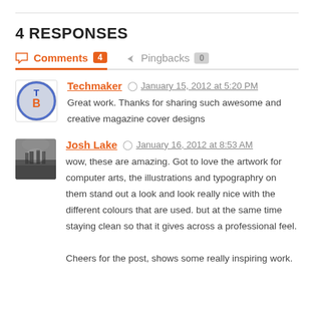4 RESPONSES
Comments 4   Pingbacks 0
Techmaker   January 15, 2012 at 5:20 PM
Great work. Thanks for sharing such awesome and creative magazine cover designs
Josh Lake   January 16, 2012 at 8:53 AM
wow, these are amazing. Got to love the artwork for computer arts, the illustrations and typographry on them stand out a look and look really nice with the different colours that are used. but at the same time staying clean so that it gives across a professional feel.

Cheers for the post, shows some really inspiring work.